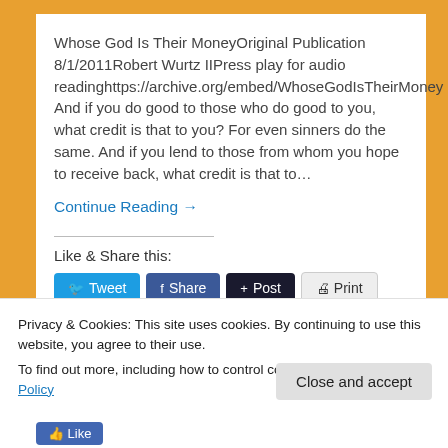Whose God Is Their MoneyOriginal Publication 8/1/2011Robert Wurtz IIPress play for audio readinghttps://archive.org/embed/WhoseGodIsTheirMoney And if you do good to those who do good to you, what credit is that to you? For even sinners do the same. And if you lend to those from whom you hope to receive back, what credit is that to…
Continue Reading →
Like & Share this:
Privacy & Cookies: This site uses cookies. By continuing to use this website, you agree to their use.
To find out more, including how to control cookies, see here: Cookie Policy
Close and accept